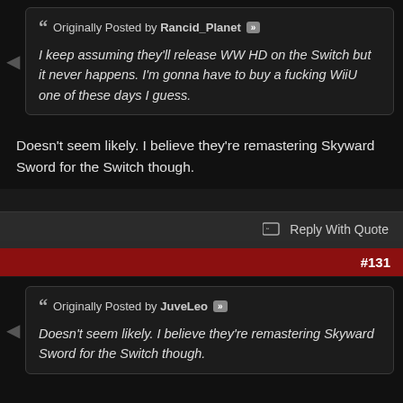Originally Posted by Rancid_Planet
I keep assuming they'll release WW HD on the Switch but it never happens. I'm gonna have to buy a fucking WiiU one of these days I guess.
Doesn't seem likely. I believe they're remastering Skyward Sword for the Switch though.
Reply With Quote
#131
Originally Posted by JuveLeo
Doesn't seem likely. I believe they're remastering Skyward Sword for the Switch though.